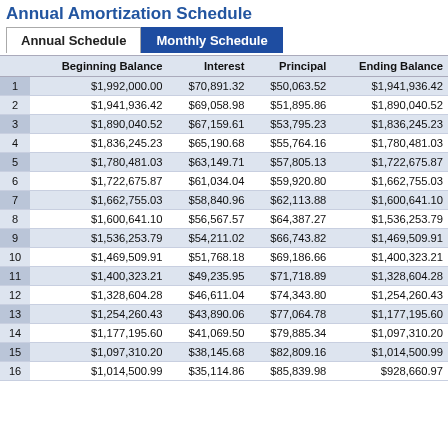Annual Amortization Schedule
|  | Beginning Balance | Interest | Principal | Ending Balance |
| --- | --- | --- | --- | --- |
| 1 | $1,992,000.00 | $70,891.32 | $50,063.52 | $1,941,936.42 |
| 2 | $1,941,936.42 | $69,058.98 | $51,895.86 | $1,890,040.52 |
| 3 | $1,890,040.52 | $67,159.61 | $53,795.23 | $1,836,245.23 |
| 4 | $1,836,245.23 | $65,190.68 | $55,764.16 | $1,780,481.03 |
| 5 | $1,780,481.03 | $63,149.71 | $57,805.13 | $1,722,675.87 |
| 6 | $1,722,675.87 | $61,034.04 | $59,920.80 | $1,662,755.03 |
| 7 | $1,662,755.03 | $58,840.96 | $62,113.88 | $1,600,641.10 |
| 8 | $1,600,641.10 | $56,567.57 | $64,387.27 | $1,536,253.79 |
| 9 | $1,536,253.79 | $54,211.02 | $66,743.82 | $1,469,509.91 |
| 10 | $1,469,509.91 | $51,768.18 | $69,186.66 | $1,400,323.21 |
| 11 | $1,400,323.21 | $49,235.95 | $71,718.89 | $1,328,604.28 |
| 12 | $1,328,604.28 | $46,611.04 | $74,343.80 | $1,254,260.43 |
| 13 | $1,254,260.43 | $43,890.06 | $77,064.78 | $1,177,195.60 |
| 14 | $1,177,195.60 | $41,069.50 | $79,885.34 | $1,097,310.20 |
| 15 | $1,097,310.20 | $38,145.68 | $82,809.16 | $1,014,500.99 |
| 16 | $1,014,500.99 | $35,114.86 | $85,839.98 | $928,660.97 |